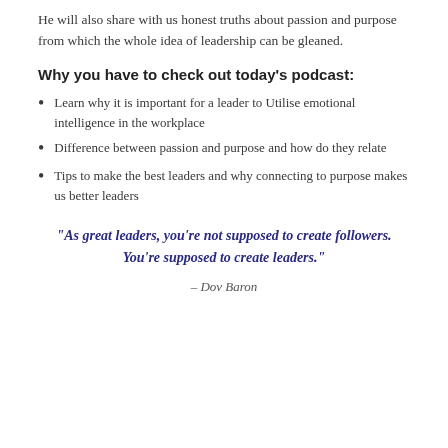He will also share with us honest truths about passion and purpose from which the whole idea of leadership can be gleaned.
Why you have to check out today's podcast:
Learn why it is important for a leader to Utilise emotional intelligence in the workplace
Difference between passion and purpose and how do they relate
Tips to make the best leaders and why connecting to purpose makes us better leaders
“As great leaders, you’re not supposed to create followers. You’re supposed to create leaders.”
– Dov Baron